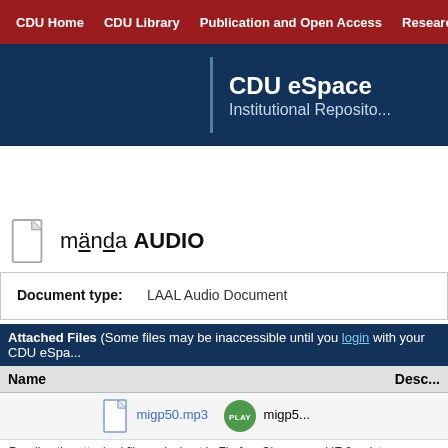CDU Home | CDU Library | Publication and Open Access | Research
CDU eSpace Institutional Repository
mända AUDIO
|  |
| --- |
| Document type: | LAAL Audio Document |
Attached Files (Some files may be inaccessible until you login with your CDU eSpa...
| Name | Desc... |
| --- | --- |
| migp50.mp3 | PLAY | migp5... |
Reading the attached file works best in Firefox, Chrome and IE 9 or later.